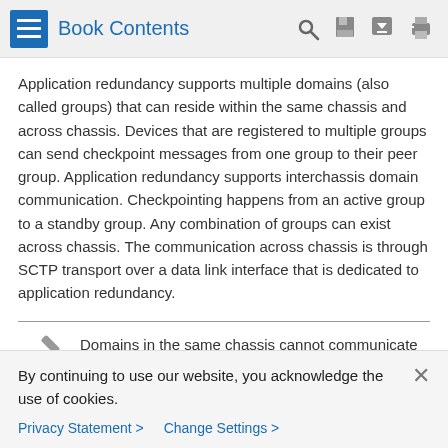Book Contents
Application redundancy supports multiple domains (also called groups) that can reside within the same chassis and across chassis. Devices that are registered to multiple groups can send checkpoint messages from one group to their peer group. Application redundancy supports interchassis domain communication. Checkpointing happens from an active group to a standby group. Any combination of groups can exist across chassis. The communication across chassis is through SCTP transport over a data link interface that is dedicated to application redundancy.
Note: Domains in the same chassis cannot communicate with each other.
By continuing to use our website, you acknowledge the use of cookies.
Privacy Statement > Change Settings >